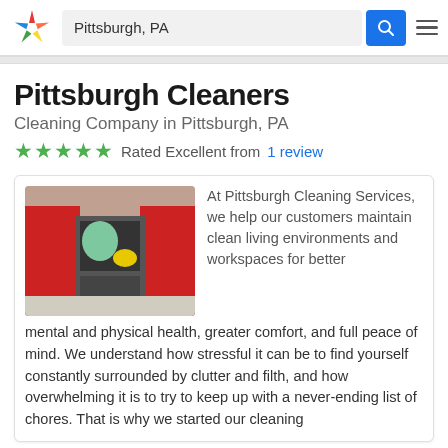Pittsburgh, PA
Pittsburgh Cleaners
Cleaning Company in Pittsburgh, PA
★★★★★ Rated Excellent from 1 review
[Figure (photo): Woman in green shirt and yellow rubber gloves cleaning an oven in a kitchen with red cabinets]
At Pittsburgh Cleaning Services, we help our customers maintain clean living environments and workspaces for better mental and physical health, greater comfort, and full peace of mind. We understand how stressful it can be to find yourself constantly surrounded by clutter and filth, and how overwhelming it is to try to keep up with a never-ending list of chores. That is why we started our cleaning